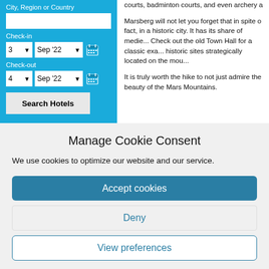[Figure (screenshot): Blue hotel search widget with City/Region/Country text field, Check-in date selectors (3, Sep '22 with calendar icon), Check-out date selectors (4, Sep '22 with calendar icon), and a Search Hotels button]
courts, badminton courts, and even archery a
Marsberg will not let you forget that in spite of fact, in a historic city. It has its share of medie... Check out the old Town Hall for a classic exa... historic sites strategically located on the mou...
It is truly worth the hike to not just admire the beauty of the Mars Mountains.
Manage Cookie Consent
We use cookies to optimize our website and our service.
Accept cookies
Deny
View preferences